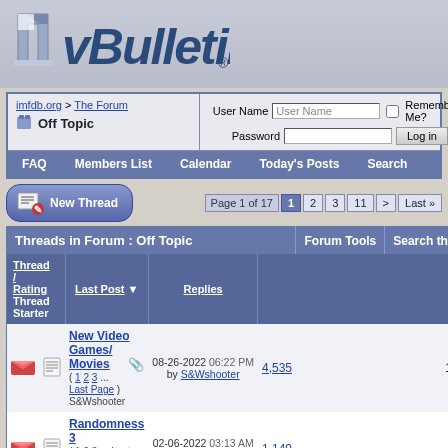[Figure (logo): vBulletin logo with stylized V icon and italic bold text]
imfdb.org > The Forum
Off Topic
User Name | Password | Remember Me? | Log in
FAQ | Members List | Calendar | Today's Posts | Search
New Thread | Page 1 of 17 | 1 2 3 11 > Last »
| Thread / Thread Starter | Rating | Last Post | Replies | Views |
| --- | --- | --- | --- | --- |
| New Video Games/ Movies (1 2 3 ... Last Page) S&Wshooter |  | 08-26-2022 06:22 PM by S&Wshooter | 4,535 | 1,903,852 |
| Randomness 3 (1 2 3 ... Last Page) Evil Tim |  | 02-06-2022 03:13 AM by S&Wshooter | 1,149 | 589,211 |
| Pimp my gun |  | 07-14-2021 12:27 AM |  |  |